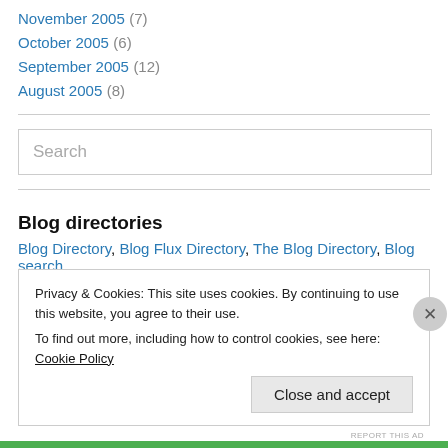November 2005 (7)
October 2005 (6)
September 2005 (12)
August 2005 (8)
Search
Blog directories
Blog Directory, Blog Flux Directory, The Blog Directory, Blog search
Privacy & Cookies: This site uses cookies. By continuing to use this website, you agree to their use.
To find out more, including how to control cookies, see here: Cookie Policy
Close and accept